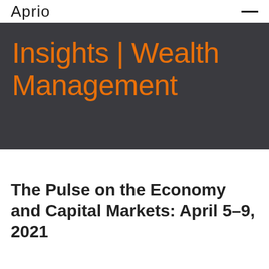Aprio
Insights | Wealth Management
The Pulse on the Economy and Capital Markets: April 5–9, 2021